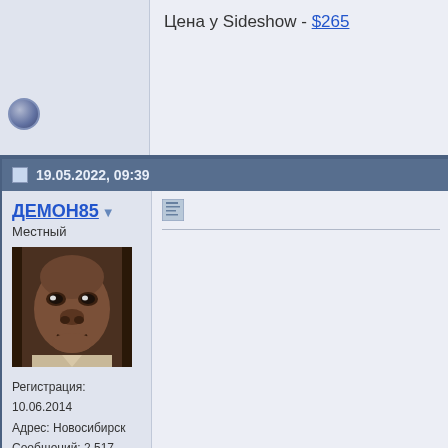Цена у Sideshow - $265
19.05.2022, 09:39
ДЕМОН85
Местный
[Figure (photo): User avatar photo — close-up portrait of a person]
Регистрация: 10.06.2014
Адрес: Новосибирск
Сообщений: 2,517